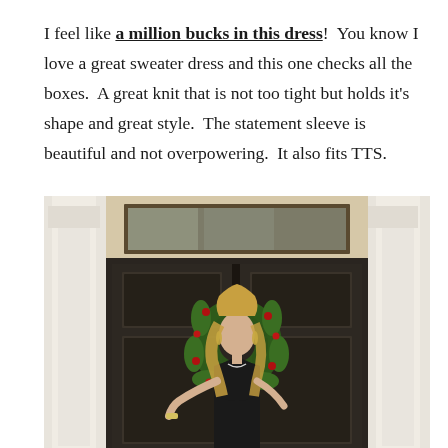I feel like a million bucks in this dress!  You know I love a great sweater dress and this one checks all the boxes.  A great knit that is not too tight but holds it's shape and great style.  The statement sleeve is beautiful and not overpowering.  It also fits TTS.
[Figure (photo): A blonde woman wearing a black dress stands in front of a dark double door decorated with a green holiday wreath with red berries. The entrance has white classical columns on either side and a transom window above the door.]